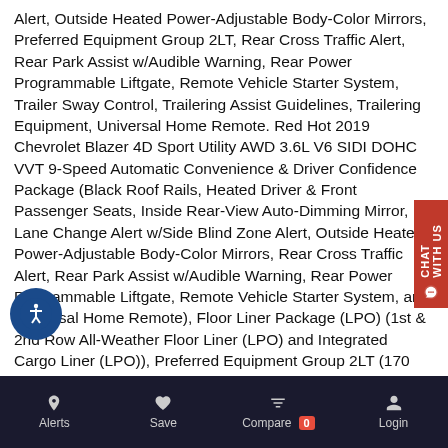Alert, Outside Heated Power-Adjustable Body-Color Mirrors, Preferred Equipment Group 2LT, Rear Cross Traffic Alert, Rear Park Assist w/Audible Warning, Rear Power Programmable Liftgate, Remote Vehicle Starter System, Trailer Sway Control, Trailering Assist Guidelines, Trailering Equipment, Universal Home Remote. Red Hot 2019 Chevrolet Blazer 4D Sport Utility AWD 3.6L V6 SIDI DOHC VVT 9-Speed Automatic Convenience & Driver Confidence Package (Black Roof Rails, Heated Driver & Front Passenger Seats, Inside Rear-View Auto-Dimming Mirror, Lane Change Alert w/Side Blind Zone Alert, Outside Heated Power-Adjustable Body-Color Mirrors, Rear Cross Traffic Alert, Rear Park Assist w/Audible Warning, Rear Power Programmable Liftgate, Remote Vehicle Starter System, and Universal Home Remote), Floor Liner Package (LPO) (1st & 2nd Row All-Weather Floor Liner (LPO) and Integrated Cargo Liner (LPO)), Preferred Equipment Group 2LT (170 Amp Alternator, Heavy-Duty Cooling System, Trailer Sway Control, and Trailering Assist Guidelines), Trailering Equipment, 3.49 Final Drive 4-Wheel Disc Brakes, 6 Speakers, 6-Speaker Audio System Feature, ABS brakes, Air Conditioning, Alloy wheels, AM/FM radio: SiriusXM, Apple CarPlay/Android Auto, Automatic temperature
[Figure (other): Chat with us widget on the right side, red background]
[Figure (other): Accessibility button, circular blue icon with person figure]
Alerts   Save   Compare 0   Login